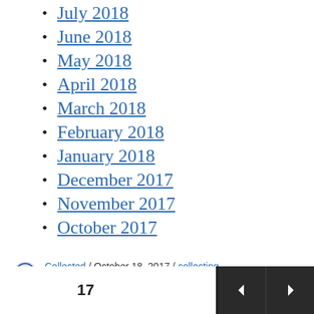July 2018
June 2018
May 2018
April 2018
March 2018
February 2018
January 2018
December 2017
November 2017
October 2017
Collected / October 18, 2017 / collecting, Uncategorized / collecting / Leave a comment
17